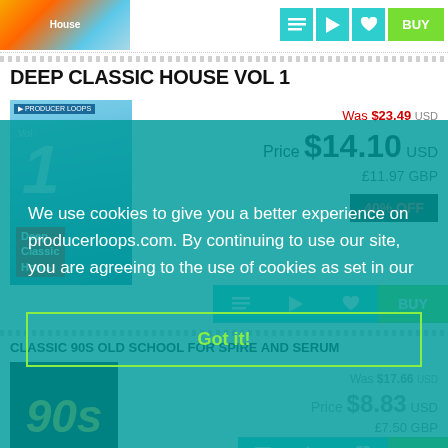[Figure (screenshot): Top product strip with album art thumbnail and action buttons (list, play, heart, BUY)]
DEEP CLASSIC HOUSE VOL 1
[Figure (photo): Deep Classic House Vol 1 album cover with blue pool water and person's legs]
Was $23.49 USD
Price $14.10 USD
£11.97 GBP
40% OFF
[Figure (screenshot): Action buttons row: list, play, heart, BUY]
CLASSIC 90S OLD SCHOOL FOR SPIRE AND SERUM
[Figure (photo): Classic 90s Old School album cover with dark background and yellow 90s text]
Was $17.66 USD
Price $8.83 USD
£7.50 GBP
[Figure (screenshot): Cookie consent overlay: We use cookies to give you a better experience on producerloops.com. By continuing to use our site, you are agreeing to the use of cookies as set in our [policy]. Got it! button.]